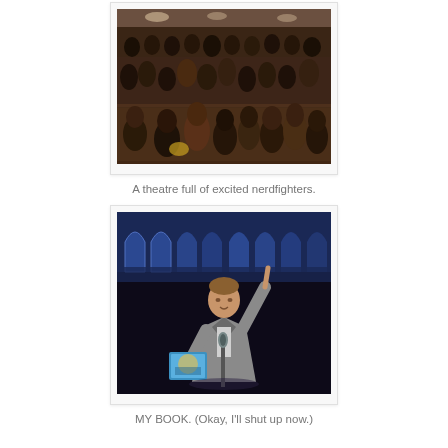[Figure (photo): A crowded theatre filled with many audience members sitting in rows, viewed from the side/front. The audience appears to be a young diverse crowd, dimly lit.]
A theatre full of excited nerdfighters.
[Figure (photo): A man in a grey blazer stands at a microphone on a dark stage, holding a book with a blue cover, pointing one finger upward. The background shows blue-lit arched windows.]
MY BOOK. (Okay, I'll shut up now.)